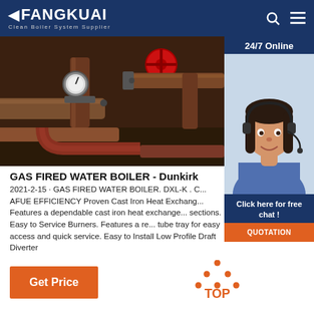FANGKUAI - Clean Boiler System Supplier
[Figure (photo): Industrial boiler pipe system with gauges, red valves, and metal fittings in an industrial setting]
[Figure (photo): Customer service representative wearing a headset, smiling, with '24/7 Online' label and 'Click here for free chat!' and 'QUOTATION' button on sidebar]
GAS FIRED WATER BOILER - Dunkirk
2021-2-15 · GAS FIRED WATER BOILER. DXL-K . C... AFUE EFFICIENCY Proven Cast Iron Heat Exchange... Features a dependable cast iron heat exchange... sections. Easy to Service Burners. Features a re... tube tray for easy access and quick service. Easy to Install Low Profile Draft Diverter
Get Price